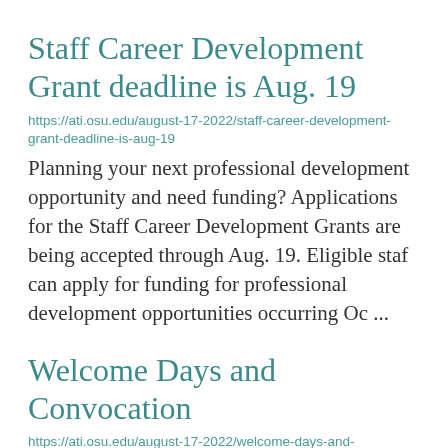Staff Career Development Grant deadline is Aug. 19
https://ati.osu.edu/august-17-2022/staff-career-development-grant-deadline-is-aug-19
Planning your next professional development opportunity and need funding? Applications for the Staff Career Development Grants are being accepted through Aug. 19. Eligible staff can apply for funding for professional development opportunities occurring Oc ...
Welcome Days and Convocation
https://ati.osu.edu/august-17-2022/welcome-days-and-convocation